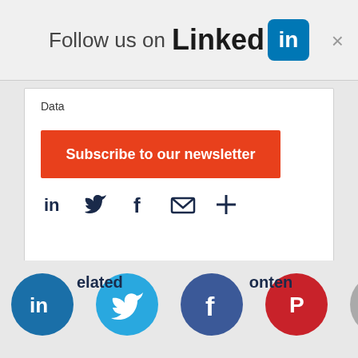[Figure (screenshot): LinkedIn 'Follow us on LinkedIn' banner with logo and close button]
Data
[Figure (infographic): Orange 'Subscribe to our newsletter' banner overlaid on Share article section with social icons (LinkedIn, Twitter, Facebook, email, plus)]
Share article
[Figure (infographic): Bottom bar with circular social share icons: LinkedIn (blue), Twitter (light blue), Facebook (dark blue), Pinterest (red), Email (grey), with 'Related content' label text visible]